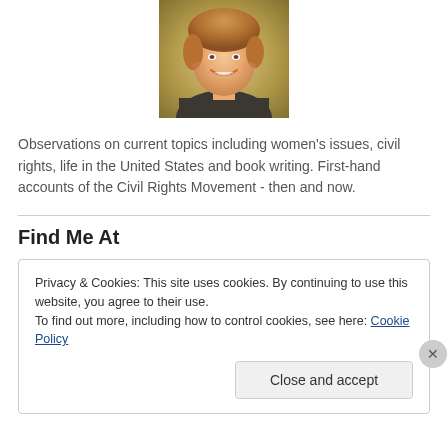[Figure (photo): Headshot of a smiling middle-aged woman with short blonde/auburn hair, wearing a dark patterned top, photographed against a blurred outdoor background.]
Observations on current topics including women's issues, civil rights, life in the United States and book writing. First-hand accounts of the Civil Rights Movement - then and now.
Find Me At
Privacy & Cookies: This site uses cookies. By continuing to use this website, you agree to their use.
To find out more, including how to control cookies, see here: Cookie Policy
Close and accept